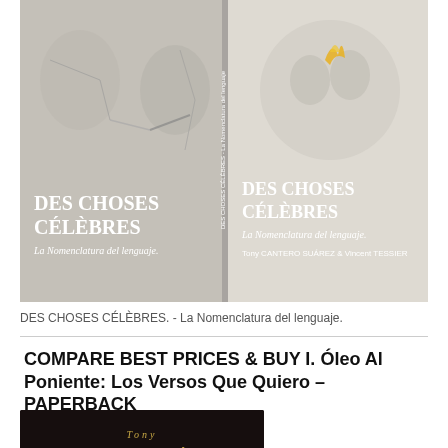[Figure (photo): Book cover shown from two angles (front cover and spine/back view). The book is titled 'DES CHOSES CÉLÈBRES - La Nomenclatura del lenguaje.' by Tony CANTERO SUÁREZ & Vincent TESSIER. Covers show pencil sketch illustrations of two figures facing each other, and the right panel shows a circular illustration of two faces close together with a flame between them.]
DES CHOSES CÉLÈBRES. - La Nomenclatura del lenguaje.
COMPARE BEST PRICES & BUY I. Óleo Al Poniente: Los Versos Que Quiero – PAPERBACK
[Figure (photo): Bottom portion of a dark book cover showing the text 'Tony CANTERO SUÁREZ' in gold/amber colored lettering on a dark background.]